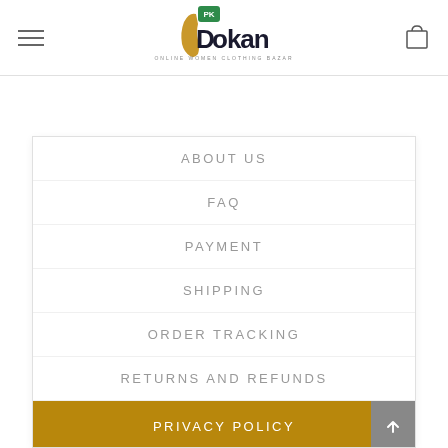PK Dokan - Online Women Clothing Bazar
ABOUT US
FAQ
PAYMENT
SHIPPING
ORDER TRACKING
RETURNS AND REFUNDS
PRIVACY POLICY